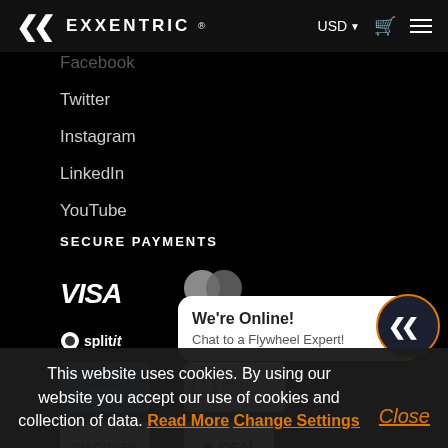EXXENTRIC® USD Cart Menu
Facebook
Twitter
Instagram
LinkedIn
YouTube
SECURE PAYMENTS
[Figure (logo): Payment logos: VISA, Mastercard, Splitit, Stripe, American Express, Diners Club, Discover, iDEAL, and more]
We're Online! Chat to a Flywheel Expert!
This website uses cookies. By using our website you accept our use of cookies and collection of data. Read More Change Settings Close